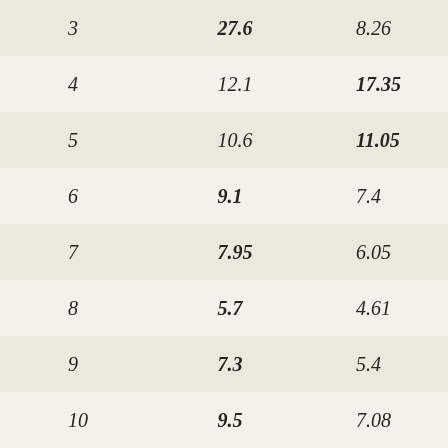| 3 | 27.6 | 8.26 |
| 4 | 12.1 | 17.35 |
| 5 | 10.6 | 11.05 |
| 6 | 9.1 | 7.4 |
| 7 | 7.95 | 6.05 |
| 8 | 5.7 | 4.61 |
| 9 | 7.3 | 5.4 |
| 10 | 9.5 | 7.08 |